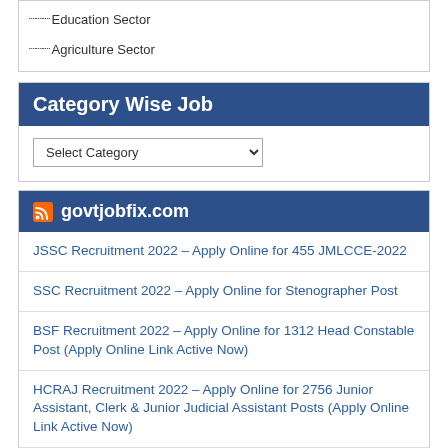Education Sector
Agriculture Sector
Category Wise Job
Select Category
govtjobfix.com
JSSC Recruitment 2022 – Apply Online for 455 JMLCCE-2022
SSC Recruitment 2022 – Apply Online for Stenographer Post
BSF Recruitment 2022 – Apply Online for 1312 Head Constable Post (Apply Online Link Active Now)
HCRAJ Recruitment 2022 – Apply Online for 2756 Junior Assistant, Clerk & Junior Judicial Assistant Posts (Apply Online Link Active Now)
Indian Coast Guard Recruitment 2022 – Apply Online for 71 Assistant Commandant General Duty, CPL, Technical (Mechanical & Electrical) & Law Posts
BEL Recruitment 2022 – Apply Online for 13 Engineering Assistant